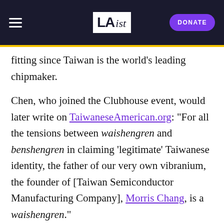LAist | DONATE
fitting since Taiwan is the world's leading chipmaker.
Chen, who joined the Clubhouse event, would later write on TaiwaneseAmerican.org: “For all the tensions between waishengren and benshengren in claiming ‘legitimate’ Taiwanese identity, the father of our very own vibranium, the founder of [Taiwan Semiconductor Manufacturing Company], Morris Chang, is a waishengren.”
Wendy Cheng, a Scripps College professor of ethnic and American studies who is studying how Cold War